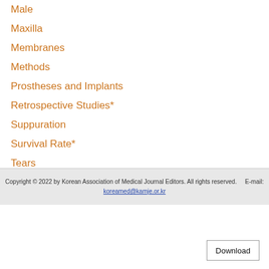Male
Maxilla
Membranes
Methods
Prostheses and Implants
Retrospective Studies*
Suppuration
Survival Rate*
Tears
Transplants*
Copyright © 2022 by Korean Association of Medical Journal Editors. All rights reserved.      E-mail: koreamed@kamje.or.kr